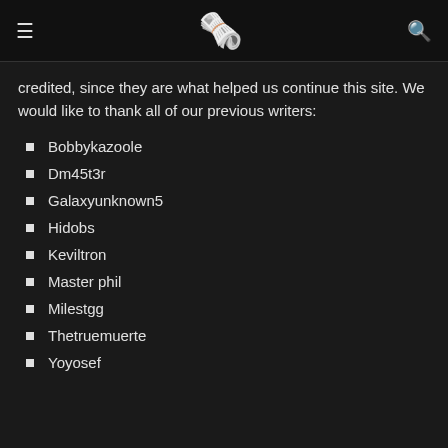≡ [newspaper emoji] 🔍
credited, since they are what helped us continue this site. We would like to thank all of our previous writers:
Bobbykazoole
Dm45t3r
Galaxyunknown5
Hidobs
Keviltron
Master phil
Milestgg
Thetruemuerte
Yoyosef